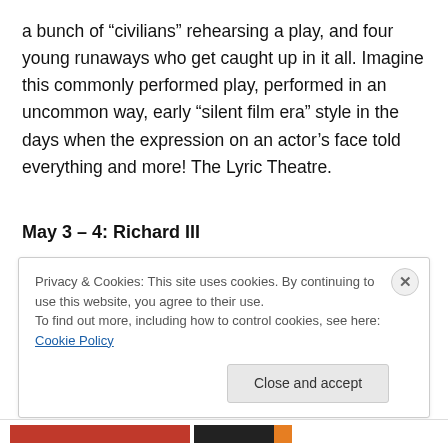a bunch of “civilians” rehearsing a play, and four young runaways who get caught up in it all. Imagine this commonly performed play, performed in an uncommon way, early “silent film era” style in the days when the expression on an actor’s face told everything and more! The Lyric Theatre.
May 3 – 4: Richard III
Come discover why and how Richard III continues to fascinate generations of audiences. As is our culture, multiple Players will divide up the title role – representing
Privacy & Cookies: This site uses cookies. By continuing to use this website, you agree to their use.
To find out more, including how to control cookies, see here: Cookie Policy